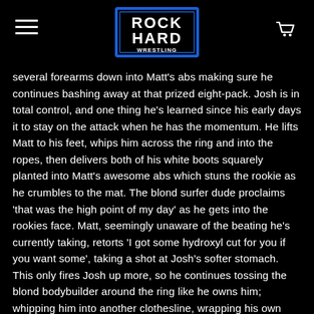ROCK HARD WRESTLING
several forearms down into Matt's abs making sure he continues bashing away at that prized eight-pack. Josh is in total control, and one thing he's learned since his early days it to stay on the attack when he has the momentum. He lifts Matt to his feet, whips him across the ring and into the ropes, then delivers both of his white boots squarely planted into Matt's awesome abs which stuns the rookie as he crumbles to the mat. The blond surfer dude proclaims 'that was the high point of my day' as he gets into the rookies face. Matt, seemingly unaware of the beating he's currently taking, retorts 'I got some hydroxyl cut for you if you want some', taking a shot at Josh's softer stomach. This only fires Josh up more, so he continues tossing the blond bodybuilder around the ring like he owns him; whipping him into another clothesline, wrapping his own massive thighs around Matt's tiny waist and squeezing the shit out of him, then locking on a chicken wing